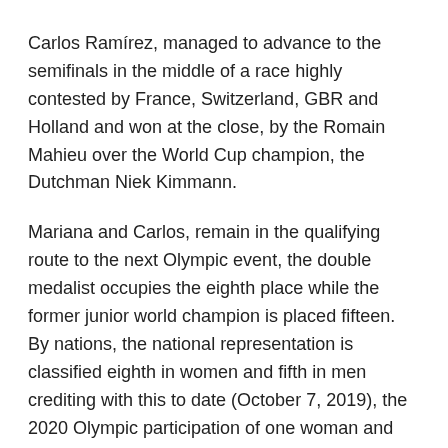Carlos Ramírez, managed to advance to the semifinals in the middle of a race highly contested by France, Switzerland, GBR and Holland and won at the close, by the Romain Mahieu over the World Cup champion, the Dutchman Niek Kimmann.
Mariana and Carlos, remain in the qualifying route to the next Olympic event, the double medalist occupies the eighth place while the former junior world champion is placed fifteen. By nations, the national representation is classified eighth in women and fifth in men crediting with this to date (October 7, 2019), the 2020 Olympic participation of one woman and two men.
It should be remembered that the ranking corresponding to the period from September 1, 2018 until June 1, 2020 will be the one that is taken into account to assign the places under the following four